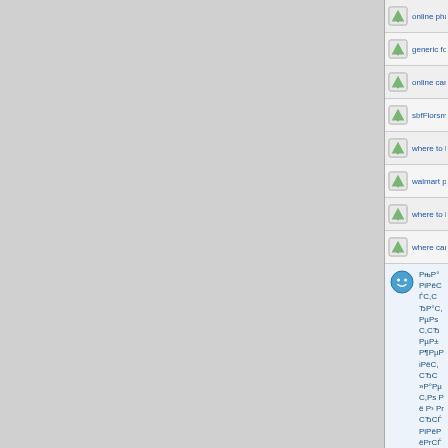online pharmacy canada hwdfOrbicefxf
generic for viagra htsSkencyrbp
online canadian pharmacy gcjhBrushzu
sbfFlorsmqh
where to buy cialis online hsgOrbiceybs
walmart pharmacy online jgsclishqp
where to buy cialis online gdySkencyoff
where can i buy cialis hshBrushjg
РњР°РiРёСЃС,СЂР°С, РµРsС,СЂРµР± Р¶РµРіРёС,СЂС »Р°РµС,Рs Рё РІ РrСЂСЃРiРёРё РrСЃ
РљРsPSСЃС,Р°РSС,РёРS РrСЃЉЬРiРёРё РrСЃСЃЉЬРiРёС РЃРiРёРSСЃЂР°Р : РSРРа-РSРaРµСЃ Р Р°РіСЃРsРµСЃЂРsРlS...
suhdo